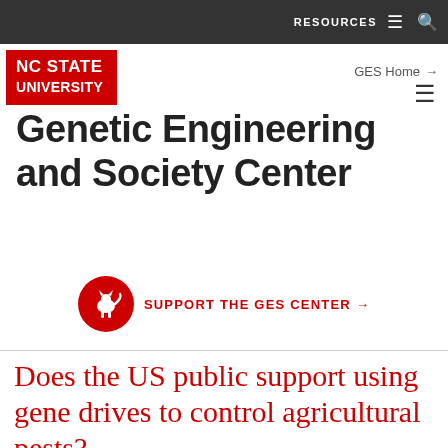RESOURCES  ≡  🔍
[Figure (logo): NC State University logo — red box with white bold text 'NC STATE UNIVERSITY']
GES Home →
Genetic Engineering and Society Center
[Figure (illustration): Red circle with white wolf howling silhouette icon followed by text 'SUPPORT THE GES CENTER →']
Does the US public support using gene drives to control agricultural pests?